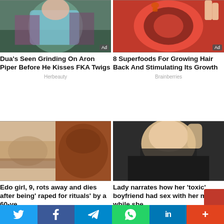[Figure (photo): Woman in teal crop top on a boat]
Dua's Seen Grinding On Aron Piper Before He Kisses FKA Twigs
Herbeauty
[Figure (photo): Cross-section of a red tomato or pomegranate]
8 Superfoods For Growing Hair Back And Stimulating Its Growth
Brainberries
[Figure (photo): Skin condition close-up image split with textured surface]
Edo girl, 9, rots away and dies after being' raped for rituals' by a 60-ye…
[Figure (photo): Young blonde woman taking selfie in dark hoodie]
Lady narrates how her 'toxic' boyfriend had sex with her mother while she …